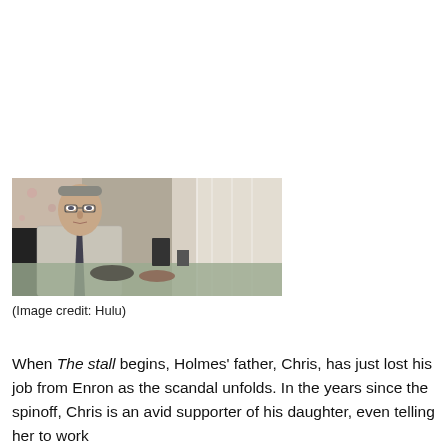[Figure (photo): A man in a light-colored checkered shirt and dark tie sits at a dining table. In the background are floral wallpaper and sheer curtains. The scene appears to be from a TV show or film.]
(Image credit: Hulu)
When The stall begins, Holmes' father, Chris, has just lost his job from Enron as the scandal unfolds. In the years since the spinoff, Chris is an avid supporter of his daughter, even telling her to work